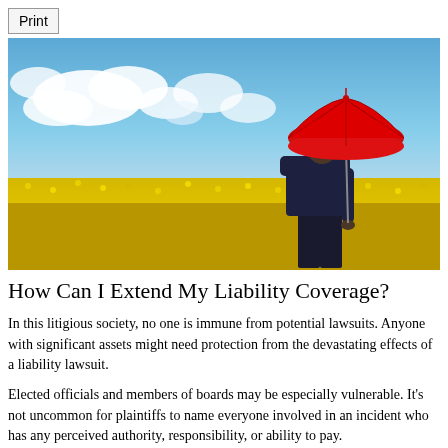[Figure (photo): Man in a dark suit standing in a yellow flower field holding a red umbrella, viewed from behind, blue sky with clouds in the background]
How Can I Extend My Liability Coverage?
In this litigious society, no one is immune from potential lawsuits. Anyone with significant assets might need protection from the devastating effects of a liability lawsuit.
Elected officials and members of boards may be especially vulnerable. It's not uncommon for plaintiffs to name everyone involved in an incident who has any perceived authority, responsibility, or ability to pay.